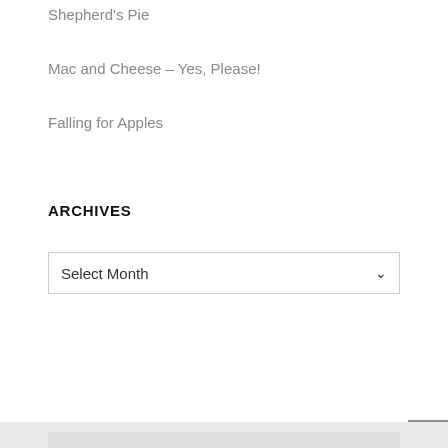Shepherd's Pie
Mac and Cheese – Yes, Please!
Falling for Apples
ARCHIVES
Select Month